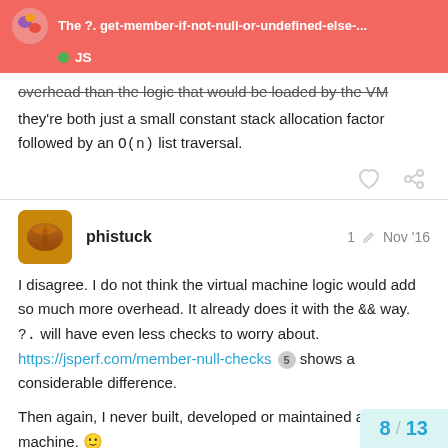The ?. get-member-if-not-null-or-undefined-else-... JS
overhead than the logic that would be loaded by the VM they're both just a small constant stack allocation factor followed by an O(n) list traversal.
phistuck 1 [edit] Nov '16
I disagree. I do not think the virtual machine logic would add so much more overhead. It already does it with the && way. ?. will have even less checks to worry about. https://jsperf.com/member-null-checks 5 shows a considerable difference.

Then again, I never built, developed or maintained a virtual machine. 🙂
8 / 13